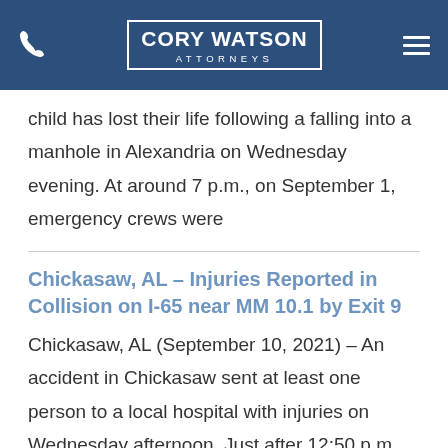CORY WATSON ATTORNEYS
child has lost their life following a falling into a manhole in Alexandria on Wednesday evening. At around 7 p.m., on September 1, emergency crews were
Chickasaw, AL – Injuries Reported in Collision on I-65 near MM 10.1 by Exit 9
Chickasaw, AL (September 10, 2021) – An accident in Chickasaw sent at least one person to a local hospital with injuries on Wednesday afternoon. Just after 12:50 p.m., on September 8, emergency